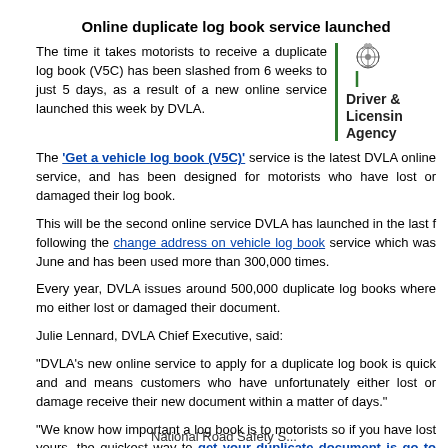Online duplicate log book service launched
The time it takes motorists to receive a duplicate log book (V5C) has been slashed from 6 weeks to just 5 days, as a result of a new online service launched this week by DVLA.
[Figure (logo): Driver & Licensing Agency logo with coat of arms]
The 'Get a vehicle log book (V5C)' service is the latest DVLA online service, and has been designed for motorists who have lost or damaged their log book.
This will be the second online service DVLA has launched in the last f following the change address on vehicle log book service which was June and has been used more than 300,000 times.
Every year, DVLA issues around 500,000 duplicate log books where mo either lost or damaged their document.
Julie Lennard, DVLA Chief Executive, said:
"DVLA's new online service to apply for a duplicate log book is quick and and means customers who have unfortunately either lost or damage receive their new document within a matter of days."
"We know how important a log book is to motorists so if you have lost yours, the quickest way to get your duplicate document is go to GOV.UK
30th September 2020
National Road Safety S...